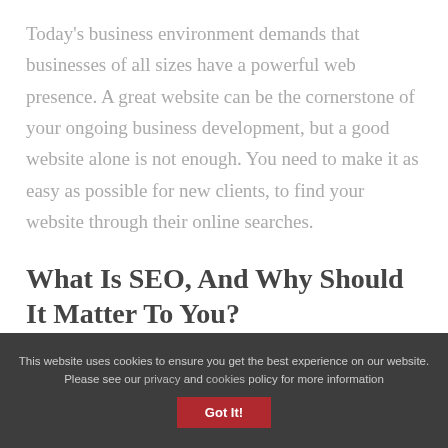Today's business environment demands that businesses of all sizes have a powerful web presence. A great website can be the cornerstone of your ongoing business development, but a good website alone is not enough. You need to make it as easy as possible for new clients, to find your website through their online searches.
What Is SEO, And Why Should It Matter To You?
This website uses cookies to ensure you get the best experience on our website. Please see our privacy and cookies policy for more information
Got It!